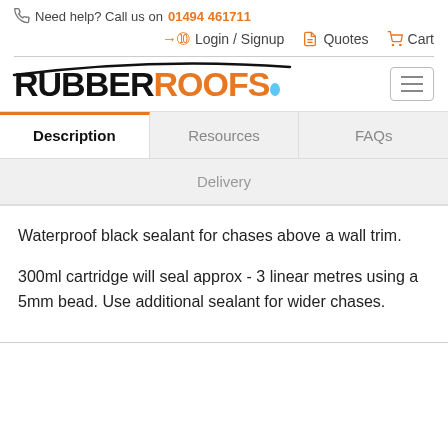Need help? Call us on 01494 461711
Login / Signup   Quotes   Cart
[Figure (logo): RubberRoofs logo with black RUBBER text, orange ROOFS text, blue teardrop dot, and arc above]
Description | Resources | FAQs | Delivery
Waterproof black sealant for chases above a wall trim.
300ml cartridge will seal approx - 3 linear metres using a 5mm bead. Use additional sealant for wider chases.